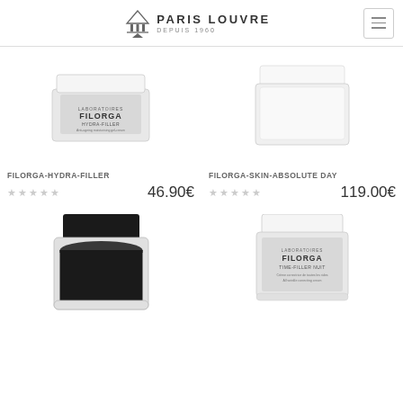Paris Louvre DEPUIS 1960
[Figure (photo): FILORGA HYDRA-FILLER cream jar product photo]
FILORGA-HYDRA-FILLER
46.90€
[Figure (photo): FILORGA SKIN ABSOLUTE DAY cream jar product photo]
FILORGA-SKIN-ABSOLUTE DAY
119.00€
[Figure (photo): Dark cream jar product photo]
[Figure (photo): FILORGA TIME-FILLER NIGHT cream jar product photo]